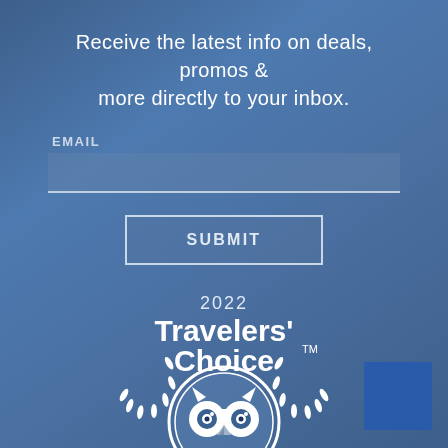Receive the latest info on deals, promos & more directly to your inbox.
EMAIL
SUBMIT
[Figure (logo): 2022 Travelers' Choice TM Tripadvisor logo with owl emblem and laurel wreath in white on blue background]